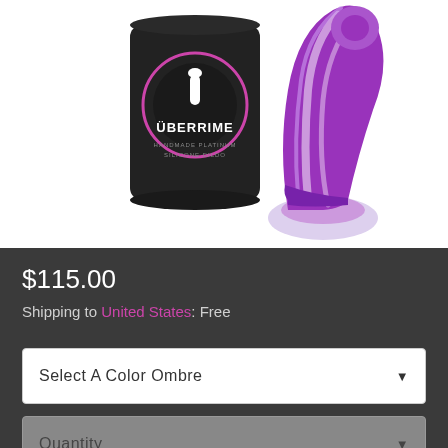[Figure (photo): Product photo showing a black Uberrime branded can next to a purple and white marbled silicone toy on a white background]
$115.00
Shipping to United States: Free
Select A Color Ombre
Quantity